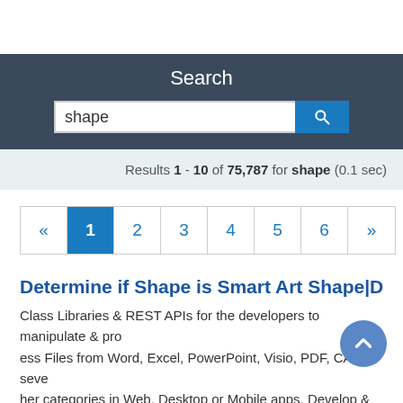Search
[Figure (screenshot): Search input box with text 'shape' and a blue search button with magnifying glass icon]
Results 1 - 10 of 75,787 for shape (0.1 sec)
[Figure (other): Pagination navigation with pages: « 1 2 3 4 5 6 »]
Determine if Shape is Smart Art Shape|Doc
Class Libraries & REST APIs for the developers to manipulate & process Files from Word, Excel, PowerPoint, Visio, PDF, CAD & several other categories in Web, Desktop or Mobile apps. Develop & deploy on Windows, Linux, MacOS & Android platforms....Determine if Shape is Smart Art Shape S...With A Possible S... Assume Smart Art S...